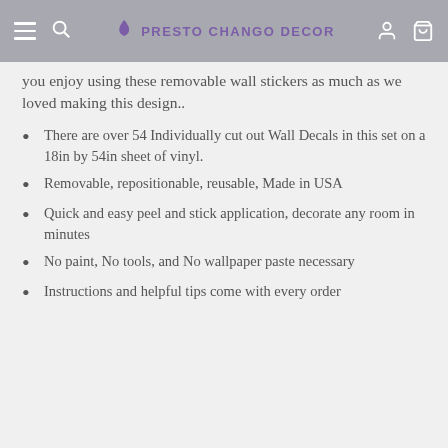PRESTO CHANGO DECOR
you enjoy using these removable wall stickers as much as we loved making this design..
There are over 54 Individually cut out Wall Decals in this set on a 18in by 54in sheet of vinyl.
Removable, repositionable, reusable, Made in USA
Quick and easy peel and stick application, decorate any room in minutes
No paint, No tools, and No wallpaper paste necessary
Instructions and helpful tips come with every order